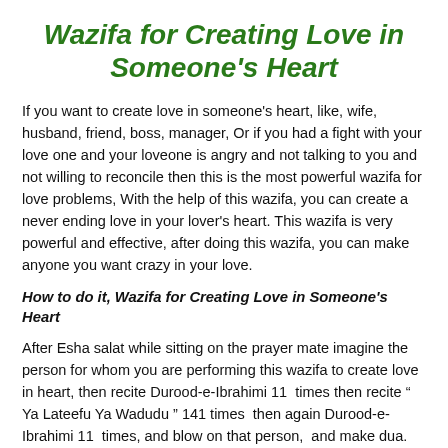Wazifa for Creating Love in Someone's Heart
If you want to create love in someone's heart, like, wife, husband, friend, boss, manager, Or if you had a fight with your love one and your loveone is angry and not talking to you and not willing to reconcile then this is the most powerful wazifa for love problems, With the help of this wazifa, you can create a never ending love in your lover's heart. This wazifa is very powerful and effective, after doing this wazifa, you can make anyone you want crazy in your love.
How to do it, Wazifa for Creating Love in Someone's Heart
After Esha salat while sitting on the prayer mate imagine the person for whom you are performing this wazifa to create love in heart, then recite Durood-e-Ibrahimi 11  times then recite " Ya Lateefu Ya Wadudu " 141 times  then again Durood-e-Ibrahimi 11  times, and blow on that person,  and make dua. do this 7 days.